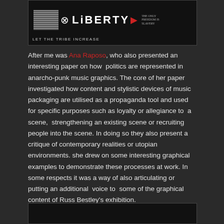[Figure (photo): Black and white album/graphic design image showing pixel art, a peace symbol, the word LIBERTY in bold letters, and a red arrow. Caption reads: LET THE TRIBE INCREASE]
After me was Ana Raposo, who also presented an interesting paper on how  politics are represented in anarcho-punk music graphics. The core of her paper investigated how content and stylistic devices of music packaging are utilised as a propaganda tool and used for specific purposes such as loyalty or allegiance to  a scene,  strengthening an existing scene or recruiting people into the scene. In doing so they also present a critique of contemporary realities or utopian environments. she drew on some interesting graphical examples to demonstrate these processes at work. In some respects it was a way of also articulating or putting an additional  voice to  some of the graphical content of Russ Bestley's exhibition.
[Figure (photo): Partial view of another black and white graphic design image at the bottom of the page]